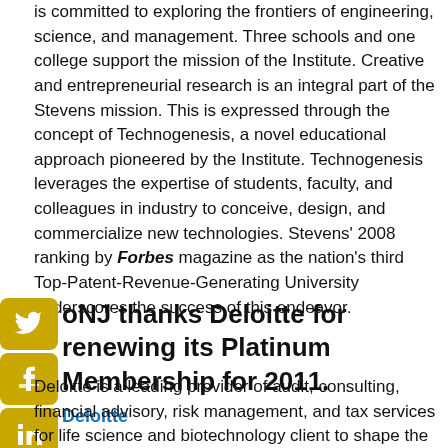is committed to exploring the frontiers of engineering, science, and management. Three schools and one college support the mission of the Institute. Creative and entrepreneurial research is an integral part of the Stevens mission. This is expressed through the concept of Technogenesis, a novel educational approach pioneered by the Institute. Technogenesis leverages the expertise of students, faculty, and colleagues in industry to conceive, design, and commercialize new technologies. Stevens' 2008 ranking by Forbes magazine as the nation's third Top-Patent-Revenue-Generating University underscores the success of this endeavor.
oNJ thanks Deloitte for renewing its Platinum Membership for 2011.
Deloitte
Deloitte is a leading provider of audit, consulting, financial advisory, risk management, and tax services for life science and biotechnology client to shape the evolution of the industry. They strive to be the trusted business advisor for the cutting edge life science and biotech companies...